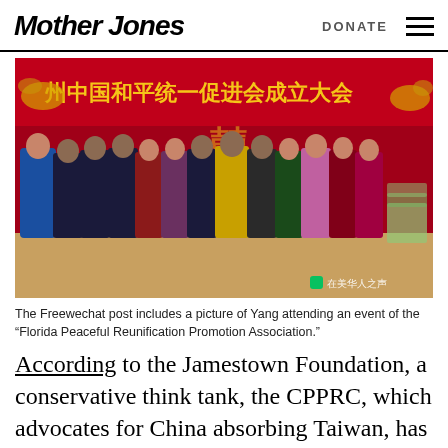Mother Jones | DONATE
[Figure (photo): Group of people standing in front of a red banner with Chinese characters at a Florida Peaceful Reunification Promotion Association event. WeChat watermark reading '在美华人之声' visible in bottom right.]
The Freewechat post includes a picture of Yang attending an event of the "Florida Peaceful Reunification Promotion Association."
According to the Jamestown Foundation, a conservative think tank, the CPPRC, which advocates for China absorbing Taiwan, has affiliated